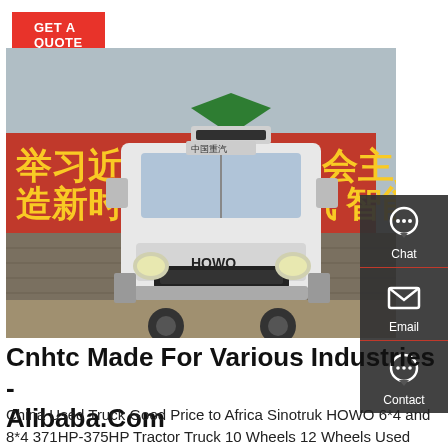GET A QUOTE
[Figure (photo): Front view of a white HOWO tractor truck parked in front of a red banner with Chinese text. The truck bears the HOWO logo on the grille.]
Cnhtc Made For Various Industries - Alibaba.Com
China Used Truck Good Price to Africa Sinotruk HOWO 6*4 and 8*4 371HP-375HP Tractor Truck 10 Wheels 12 Wheels Used Dump Truck New Sinotru...